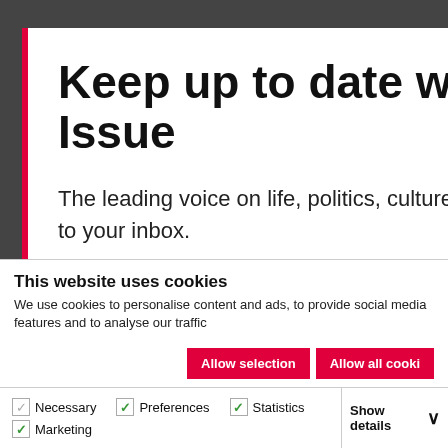Keep up to date with the Big Issue
The leading voice on life, politics, culture and social activism direct to your inbox.
This website uses cookies
We use cookies to personalise content and ads, to provide social media features and to analyse our traffic
Allow selection
Allow all cookies
Necessary  Preferences  Statistics  Marketing  Show details